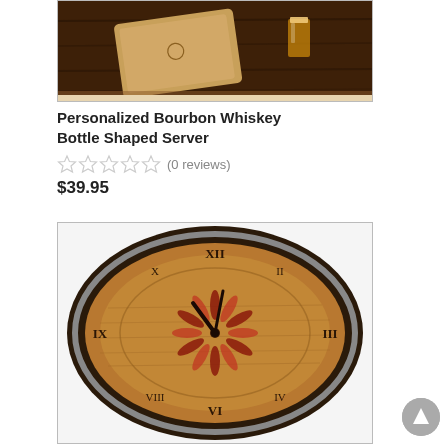[Figure (photo): Product photo of Personalized Bourbon Whiskey Bottle Shaped Server on a dark wooden surface with a shot glass of whiskey]
Personalized Bourbon Whiskey Bottle Shaped Server
(0 reviews)
$39.95
[Figure (photo): Barrel top wall clock with wooden face, Roman numerals, decorative sun/compass rose design, dark metal outer ring and band]